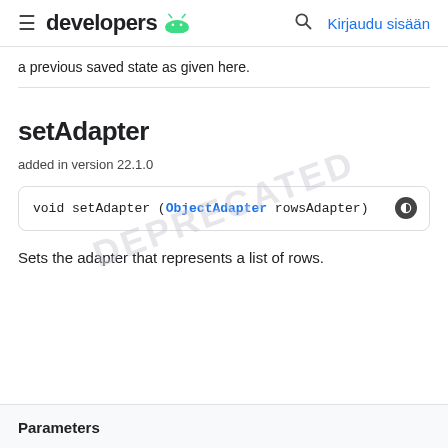developers — Kirjaudu sisään
a previous saved state as given here.
setAdapter
added in version 22.1.0
void setAdapter (ObjectAdapter rowsAdapter)
Sets the adapter that represents a list of rows.
Parameters